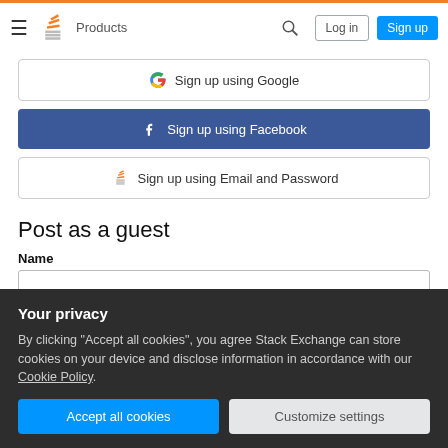Products | Log in | Sign up
Sign up using Google
Sign up using Facebook
Sign up using Email and Password
Post as a guest
Name
Email
Your privacy
By clicking "Accept all cookies", you agree Stack Exchange can store cookies on your device and disclose information in accordance with our Cookie Policy.
Accept all cookies
Customize settings